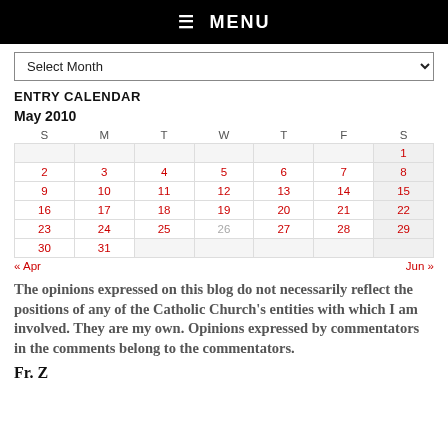☰ MENU
Select Month
ENTRY CALENDAR
| S | M | T | W | T | F | S |
| --- | --- | --- | --- | --- | --- | --- |
|  |  |  |  |  |  | 1 |
| 2 | 3 | 4 | 5 | 6 | 7 | 8 |
| 9 | 10 | 11 | 12 | 13 | 14 | 15 |
| 16 | 17 | 18 | 19 | 20 | 21 | 22 |
| 23 | 24 | 25 | 26 | 27 | 28 | 29 |
| 30 | 31 |  |  |  |  |  |
« Apr    Jun »
The opinions expressed on this blog do not necessarily reflect the positions of any of the Catholic Church's entities with which I am involved. They are my own. Opinions expressed by commentators in the comments belong to the commentators.
Fr. Z